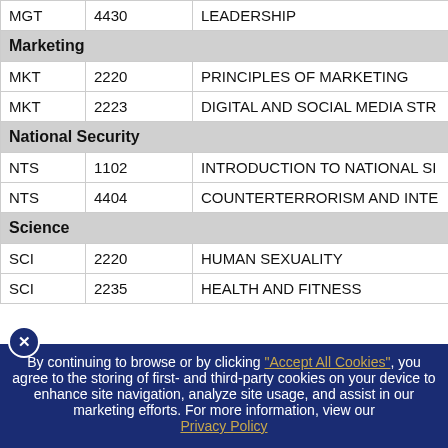| Dept | Number | Title |
| --- | --- | --- |
| MGT | 4430 | LEADERSHIP |
| Marketing |  |  |
| MKT | 2220 | PRINCIPLES OF MARKETING |
| MKT | 2223 | DIGITAL AND SOCIAL MEDIA STR... |
| National Security |  |  |
| NTS | 1102 | INTRODUCTION TO NATIONAL SI... |
| NTS | 4404 | COUNTERTERRORISM AND INTE... |
| Science |  |  |
| SCI | 2220 | HUMAN SEXUALITY |
| SCI | 2235 | HEALTH AND FITNESS |
By continuing to browse or by clicking "Accept All Cookies", you agree to the storing of first- and third-party cookies on your device to enhance site navigation, analyze site usage, and assist in our marketing efforts. For more information, view our Privacy Policy